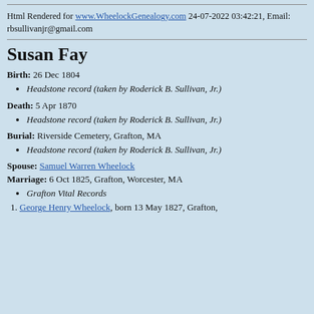Html Rendered for www.WheelockGenealogy.com 24-07-2022 03:42:21, Email: rbsullivanjr@gmail.com
Susan Fay
Birth: 26 Dec 1804
Headstone record (taken by Roderick B. Sullivan, Jr.)
Death: 5 Apr 1870
Headstone record (taken by Roderick B. Sullivan, Jr.)
Burial: Riverside Cemetery, Grafton, MA
Headstone record (taken by Roderick B. Sullivan, Jr.)
Spouse: Samuel Warren Wheelock
Marriage: 6 Oct 1825, Grafton, Worcester, MA
Grafton Vital Records
1. George Henry Wheelock, born 13 May 1827, Grafton,